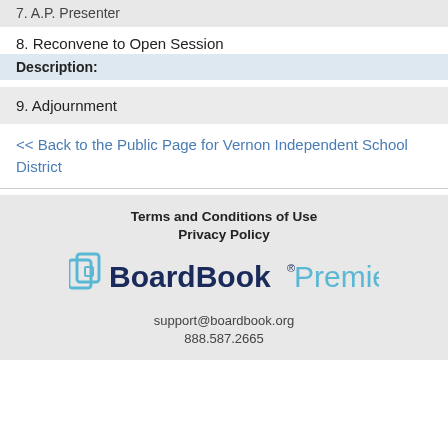7. A.P. Presenter
8. Reconvene to Open Session
Description:
9. Adjournment
<< Back to the Public Page for Vernon Independent School District
Terms and Conditions of Use
Privacy Policy
BoardBook® Premier
support@boardbook.org
888.587.2665